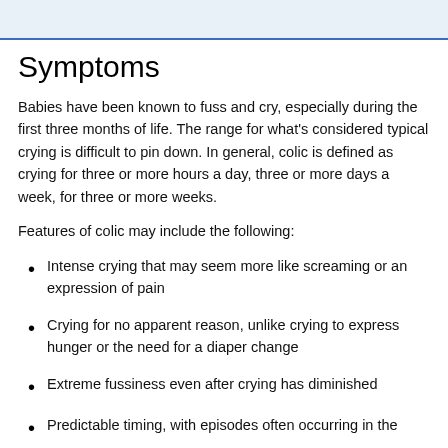[link text obscured]
Symptoms
Babies have been known to fuss and cry, especially during the first three months of life. The range for what's considered typical crying is difficult to pin down. In general, colic is defined as crying for three or more hours a day, three or more days a week, for three or more weeks.
Features of colic may include the following:
Intense crying that may seem more like screaming or an expression of pain
Crying for no apparent reason, unlike crying to express hunger or the need for a diaper change
Extreme fussiness even after crying has diminished
Predictable timing, with episodes often occurring in the